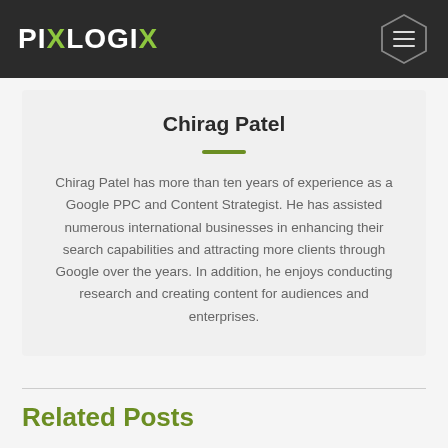PIXLOGIX
Chirag Patel
Chirag Patel has more than ten years of experience as a Google PPC and Content Strategist. He has assisted numerous international businesses in enhancing their search capabilities and attracting more clients through Google over the years. In addition, he enjoys conducting research and creating content for audiences and enterprises.
Related Posts